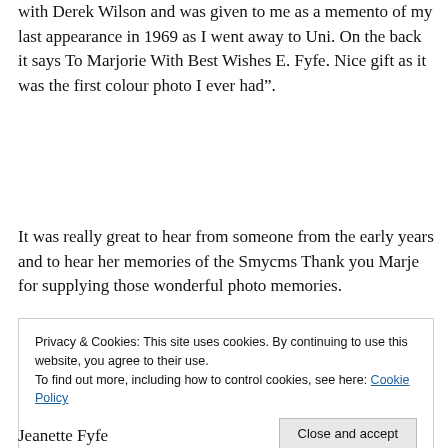with Derek Wilson and was given to me as a memento of my last appearance in 1969 as I went away to Uni. On the back it says To Marjorie With Best Wishes E. Fyfe. Nice gift as it was the first colour photo I ever had".
It was really great to hear from someone from the early years and to hear her memories of the Smycms Thank you Marje for supplying those wonderful photo memories.
Privacy & Cookies: This site uses cookies. By continuing to use this website, you agree to their use.
To find out more, including how to control cookies, see here: Cookie Policy
[Close and accept]
Jeanette Fyfe